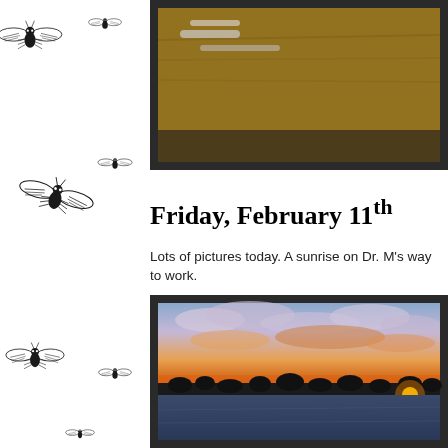[Figure (photo): Sidebar with repeating black and white insect/bug illustration pattern on white background]
[Figure (photo): Partially visible framed photograph showing what appears to be objects on a wooden surface, cropped at top of page]
Friday, February 11th
Lots of pictures today. A sunrise on Dr. M's way to work.
[Figure (photo): Framed photograph of a winter sunrise scene showing orange and golden sky with clouds, silhouettes of bare trees on the horizon, and snow-covered fields in the foreground]